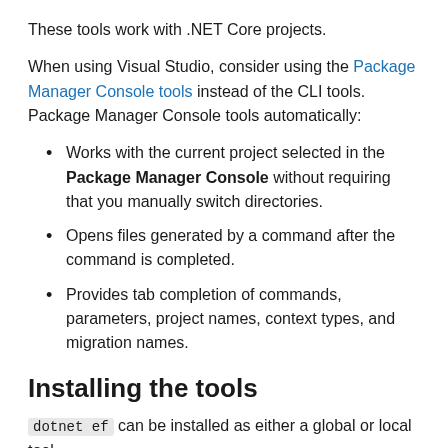These tools work with .NET Core projects.
When using Visual Studio, consider using the Package Manager Console tools instead of the CLI tools. Package Manager Console tools automatically:
Works with the current project selected in the Package Manager Console without requiring that you manually switch directories.
Opens files generated by a command after the command is completed.
Provides tab completion of commands, parameters, project names, context types, and migration names.
Installing the tools
dotnet ef can be installed as either a global or local tool.
Most developers prefer installing dotnet ef as a global